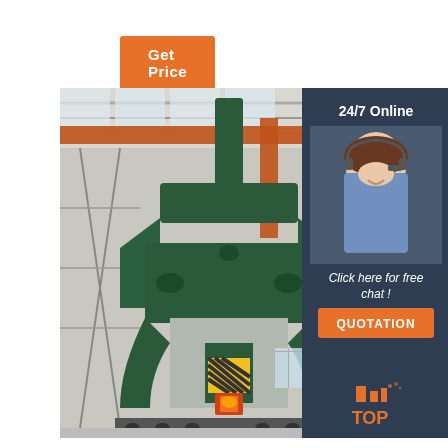Get Price
[Figure (photo): Large industrial forging hammer/press machine in green color inside a factory/warehouse setting. The machine has a distinctive arch shape with large structural frame, hydraulic components, and appears to be a heavy forging press with an active forge point glowing orange at the base.]
24/7 Online
[Figure (photo): A smiling woman wearing a headset/microphone, representing a customer service agent. She is wearing a light blue shirt and has dark long hair.]
Click here for free chat !
QUOTATION
[Figure (logo): TOP logo with orange industrial/factory icon above the letters TOP in orange on dark blue/navy background]